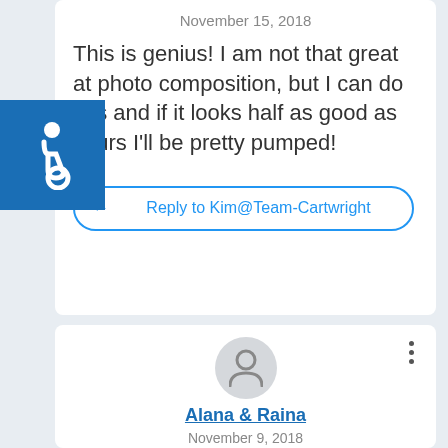November 15, 2018
This is genius! I am not that great at photo composition, but I can do this and if it looks half as good as yours I'll be pretty pumped!
Reply to Kim@Team-Cartwright
[Figure (illustration): Generic user avatar icon — person silhouette in a gray circle]
Alana & Raina
November 9, 2018
This helps- I have gone through multiple blogs,